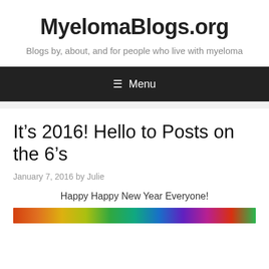MyelomaBlogs.org
Blogs by, about, and for people who live with myeloma
≡ Menu
It’s 2016! Hello to Posts on the 6’s
January 7, 2016 by Julie
Happy Happy New Year Everyone!
[Figure (photo): Colorful festive image at bottom of page, partially visible]